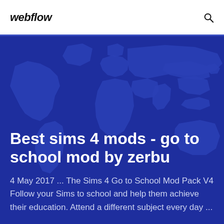webflow
[Figure (illustration): World map illustration rendered in shades of blue on a dark navy/blue background, used as a decorative hero banner element.]
Best sims 4 mods - go to school mod by zerbu
4 May 2017 ... The Sims 4 Go to School Mod Pack V4 Follow your Sims to school and help them achieve their education. Attend a different subject every day ...